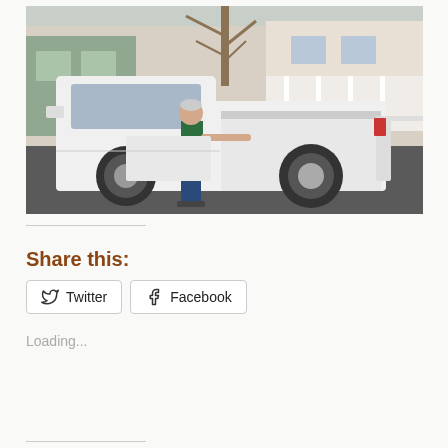[Figure (photo): A person in a green t-shirt and jeans standing next to a white pickup truck parked on a residential street. Houses with porches and bare trees are visible in the background.]
Share this:
Twitter
Facebook
Loading...